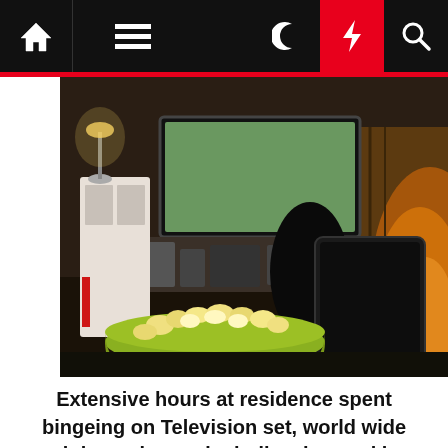[Figure (screenshot): Website navigation bar with home icon, hamburger menu, dark mode moon icon, red lightning bolt icon, and search icon on black background]
[Figure (photo): Person sitting on couch holding a tablet, with a bowl of popcorn in the foreground, a television screen and bookshelf visible in the background with warm orange lighting]
Extensive hours at residence spent bingeing on Television set, world wide web browsing and mindlessly snacking are major to … [+] pandemic-similar body weight gain.